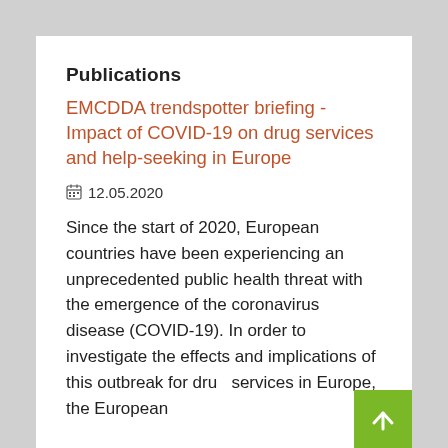Publications
EMCDDA trendspotter briefing - Impact of COVID-19 on drug services and help-seeking in Europe
12.05.2020
Since the start of 2020, European countries have been experiencing an unprecedented public health threat with the emergence of the coronavirus disease (COVID-19). In order to investigate the effects and implications of this outbreak for drug services in Europe, the European